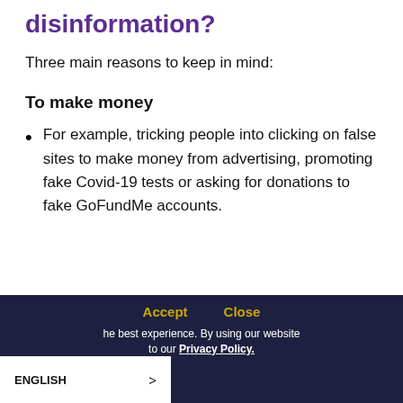disinformation?
Three main reasons to keep in mind:
To make money
For example, tricking people into clicking on false sites to make money from advertising, promoting fake Covid-19 tests or asking for donations to fake GoFundMe accounts.
Accept   Close   We use cookies to give you the best experience. By using our website you agree to our Privacy Policy.   ENGLISH >